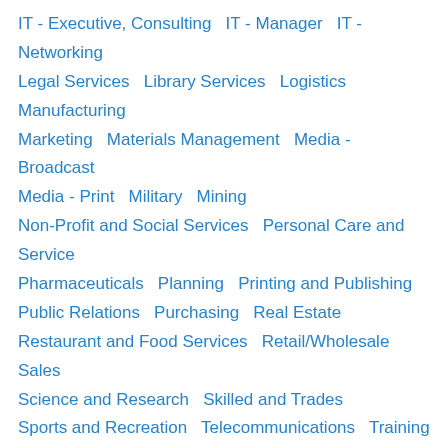IT - Executive, Consulting   IT - Manager   IT - Networking   Legal Services   Library Services   Logistics   Manufacturing   Marketing   Materials Management   Media - Broadcast   Media - Print   Military   Mining   Non-Profit and Social Services   Personal Care and Service   Pharmaceuticals   Planning   Printing and Publishing   Public Relations   Purchasing   Real Estate   Restaurant and Food Services   Retail/Wholesale   Sales   Science and Research   Skilled and Trades   Sports and Recreation   Telecommunications   Training
This site uses cookies and other similar technologies to provide site functionality, analyze traffic and usage, and deliver content tailored to your interests. | Learn More
I Accept